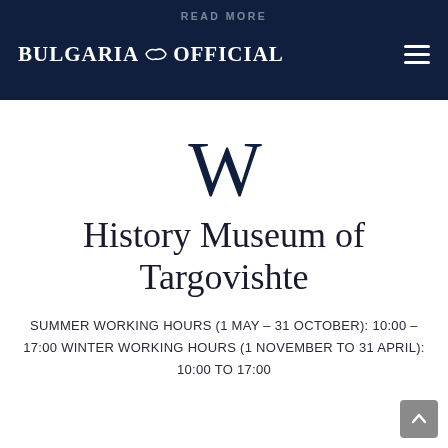BULGARIA OFFICIAL
[Figure (logo): Wikipedia-style W logo in dark navy color]
History Museum of Targovishte
SUMMER WORKING HOURS (1 MAY – 31 OCTOBER): 10:00 – 17:00 WINTER WORKING HOURS (1 NOVEMBER TO 31 APRIL): 10:00 TO 17:00